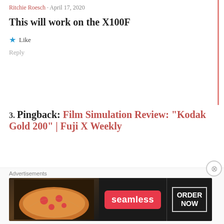Ritchie Roesch · April 17, 2020
This will work on the X100F
★ Like
Reply
3. Pingback: Film Simulation Review: "Kodak Gold 200" | Fuji X Weekly
Advertisements
[Figure (logo): Automattic logo with circular blue dot replacing the letter O]
Advertisements
[Figure (screenshot): Seamless food delivery advertisement banner with pizza image, red Seamless badge, and ORDER NOW button on dark background]